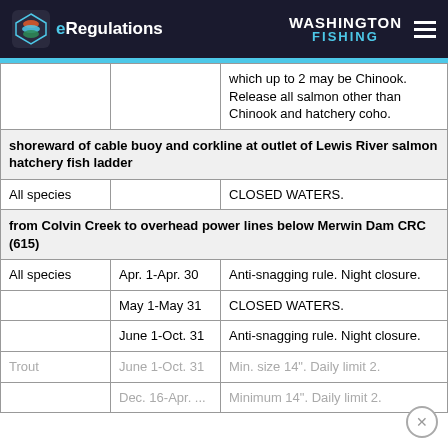eRegulations | WASHINGTON FISHING
| Species | Season | Regulations |
| --- | --- | --- |
|  |  | which up to 2 may be Chinook. Release all salmon other than Chinook and hatchery coho. |
| shoreward of cable buoy and corkline at outlet of Lewis River salmon hatchery fish ladder |  |  |
| All species |  | CLOSED WATERS. |
| from Colvin Creek to overhead power lines below Merwin Dam CRC (615) |  |  |
| All species | Apr. 1-Apr. 30 | Anti-snagging rule. Night closure. |
|  | May 1-May 31 | CLOSED WATERS. |
|  | June 1-Oct. 31 | Anti-snagging rule. Night closure. |
| Trout | June 1-Oct. 31 | Min. size 14". Daily limit 2. |
|  | Dec. 16-Apr. ... | Minimum 14". Daily limit 2. |